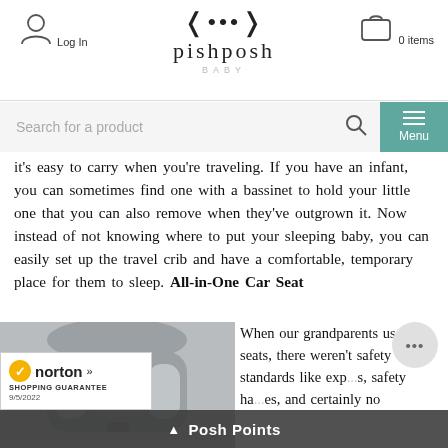[Figure (logo): PishPosh Baby logo with panda ears icon and text]
Log In
0 items
Search for a product
Menu
it's easy to carry when you're traveling. If you have an infant, you can sometimes find one with a bassinet to hold your little one that you can also remove when they've outgrown it. Now instead of not knowing where to put your sleeping baby, you can easily set up the travel crib and have a comfortable, temporary place for them to sleep. All-in-One Car Seat
[Figure (photo): Maxi-Cosi all-in-one car seat in grey color]
When our grandparents used car seats, there weren't safety standards like exp..., safety har...es, and certainly no
[Figure (logo): Norton Shopping Guarantee badge dated 9/5/2022]
Posh Points